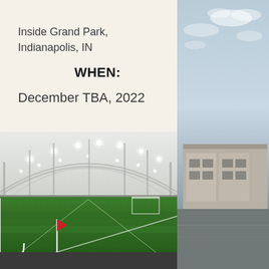Inside Grand Park, Indianapolis, IN
WHEN:
December TBA, 2022
[Figure (photo): Indoor soccer facility at Grand Park showing artificial turf field with white corner flag (red pennant), bright ceiling lights in an arched structure, and goal in background]
[Figure (photo): Exterior building photo with cloudy sky, showing a large sports complex building and parking area]